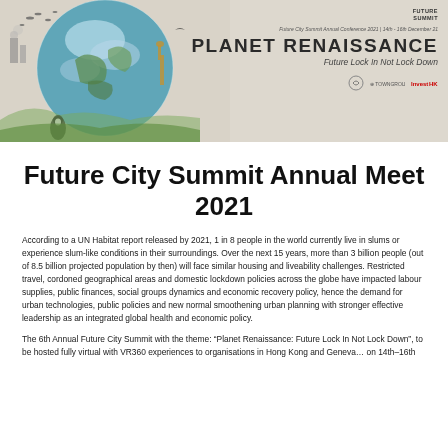[Figure (illustration): Banner image for Future City Summit Annual Conference 2021 with globe illustration, wildlife, and text 'PLANET RENAISSANCE: Future Lock In Not Lock Down'. Shows sponsor logos at bottom right.]
Future City Summit Annual Meet 2021
According to a UN Habitat report released by 2021, 1 in 8 people in the world currently live in slums or experience slum-like conditions in their surroundings. Over the next 15 years, more than 3 billion people (out of 8.5 billion projected population by then) will face similar housing and liveability challenges. Restricted travel, cordoned geographical areas and domestic lockdown policies across the globe have impacted labour supplies, public finances, social groups dynamics and economic recovery policy, hence the demand for urban technologies, public policies and new normal smoothening urban planning with stronger effective leadership as an integrated global health and economic policy.
The 6th Annual Future City Summit with the theme: “Planet Renaissance: Future Lock In Not Lock Down”, to be hosted fully virtual with VR360 experiences to organisations in Hong Kong and Geneva… on 14th–16th